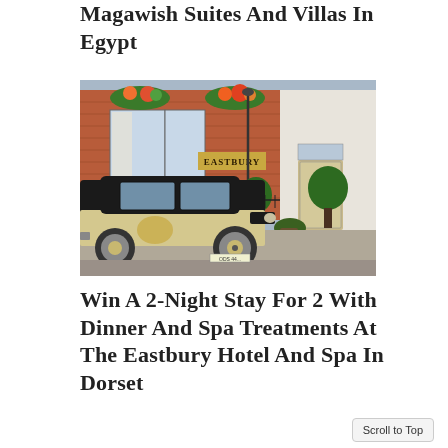Magawish Suites And Villas In Egypt
[Figure (photo): Photo of The Eastbury Hotel exterior with a vintage cream and black car parked in front, brick facade with flower boxes, and hotel signage 'EASTBURY']
Win A 2-Night Stay For 2 With Dinner And Spa Treatments At The Eastbury Hotel And Spa In Dorset